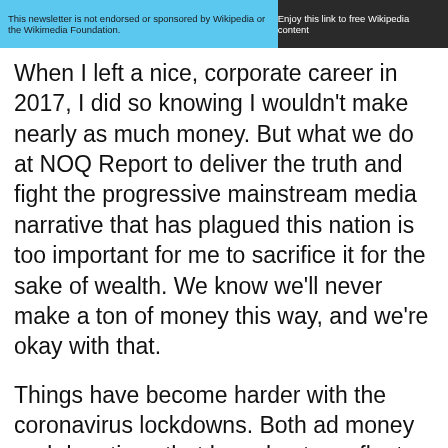[Figure (screenshot): Website banner with blue background on the left reading 'This newsletter is not endorsed or sponsored by Wikipedia or the Wikimedia Foundation.' and dark background on the right reading 'Enjoy this link to free Wikipedia content']
When I left a nice, corporate career in 2017, I did so knowing I wouldn't make nearly as much money. But what we do at NOQ Report to deliver the truth and fight the progressive mainstream media narrative that has plagued this nation is too important for me to sacrifice it for the sake of wealth. We know we'll never make a ton of money this way, and we're okay with that.
Things have become harder with the coronavirus lockdowns. Both ad money and donations that have kept us afloat for a while have dropped dramatically. We thought we could weather the storm, but the so-called “surge” or “2nd-wave” that mainstream media and Democrats are pushing has put our